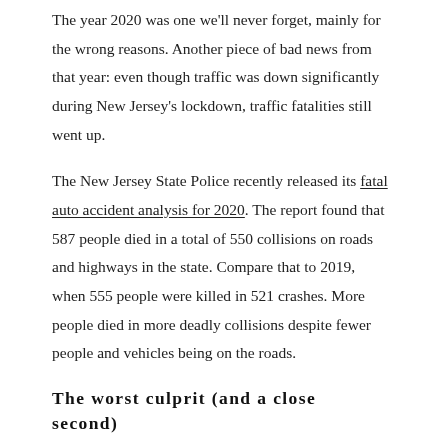The year 2020 was one we'll never forget, mainly for the wrong reasons. Another piece of bad news from that year: even though traffic was down significantly during New Jersey's lockdown, traffic fatalities still went up.
The New Jersey State Police recently released its fatal auto accident analysis for 2020. The report found that 587 people died in a total of 550 collisions on roads and highways in the state. Compare that to 2019, when 555 people were killed in 521 crashes. More people died in more deadly collisions despite fewer people and vehicles being on the roads.
The worst culprit (and a close second)
Distracted driving led the way, but just barely. Drivers distracted by their phones, food or other non-driving